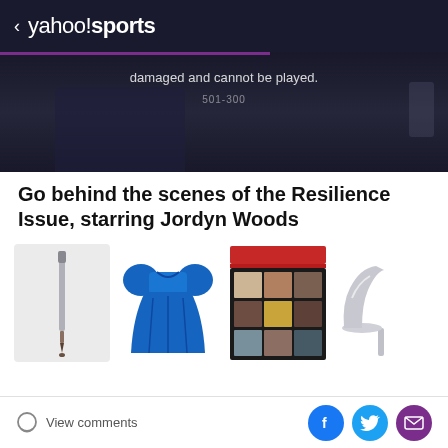< yahoo!sports
[Figure (screenshot): Video player showing error message: 'damaged and cannot be played.' with error code 501-300, dark background with a blurred figure]
Go behind the scenes of the Resilience Issue, starring Jordyn Woods
[Figure (photo): Product image of an eyebrow pencil with brush tip on light gray background]
[Figure (photo): Product image of a bright blue puffy-sleeve mini dress on white background]
[Figure (photo): Product image of a red eyeshadow palette with 9 pans in various earth tones and glitters]
[Figure (photo): Partial product image of a silver high-heel shoe on white background]
View comments
Social share buttons: Facebook, Twitter, Email